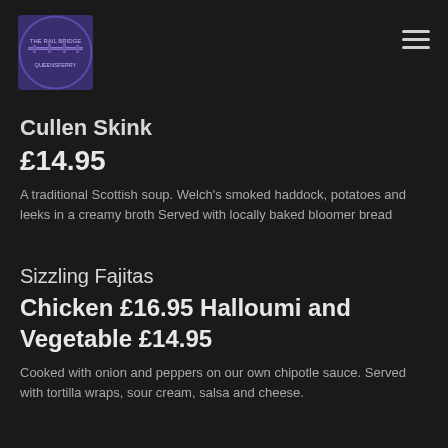The Rail Bridge Queensferry
Cullen Skink
£14.95
A traditional Scottish soup. Welch's smoked haddock, potatoes and leeks in a creamy broth Served with locally baked bloomer bread
Sizzling Fajitas
Chicken £16.95 Halloumi and Vegetable £14.95
Cooked with onion and peppers on our own chipotle sauce. Served with tortilla wraps, sour cream, salsa and cheese.